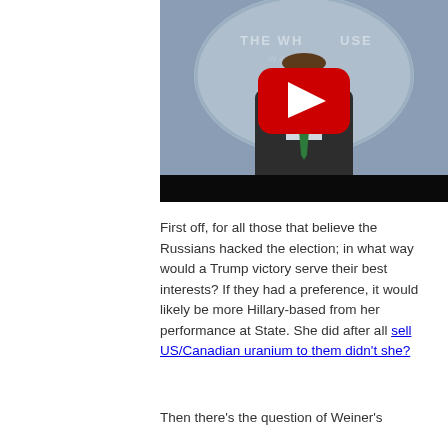[Figure (screenshot): YouTube video thumbnail showing a man in a suit with a green tie at a White House press briefing podium. A large red YouTube play button is overlaid in the center. The White House seal and 'THE WHITE HOUSE WASHINGTON' text is visible in the background.]
First off, for all those that believe the Russians hacked the election; in what way would a Trump victory serve their best interests? If they had a preference, it would likely be more Hillary-based from her performance at State. She did after all sell US/Canadian uranium to them didn't she?
Then there's the question of Weiner's